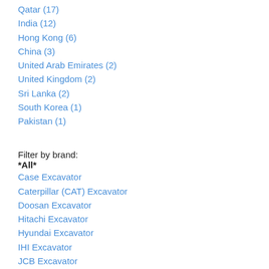Qatar (17)
India (12)
Hong Kong (6)
China (3)
United Arab Emirates (2)
United Kingdom (2)
Sri Lanka (2)
South Korea (1)
Pakistan (1)
Filter by brand:
*All*
Case Excavator
Caterpillar (CAT) Excavator
Doosan Excavator
Hitachi Excavator
Hyundai Excavator
IHI Excavator
JCB Excavator
Kato Excavator
Kobelco Excavator